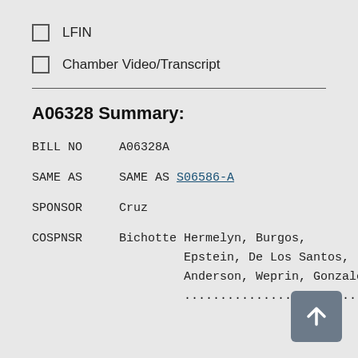LFIN
Chamber Video/Transcript
A06328 Summary:
BILL NO  A06328A
SAME AS  SAME AS  S06586-A
SPONSOR  Cruz
COSPNSR  Bichotte Hermelyn, Burgos, Epstein, De Los Santos, Anderson, Weprin, Gonzalez-